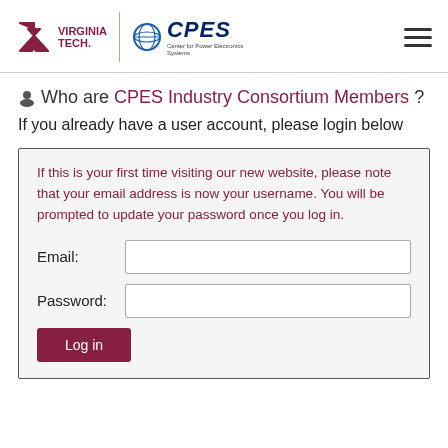[Figure (logo): Virginia Tech and CPES logos in the header, with a hamburger menu icon on the right]
Who are CPES Industry Consortium Members?
If you already have a user account, please login below
If this is your first time visiting our new website, please note that your email address is now your username. You will be prompted to update your password once you log in.
Email:
Password: